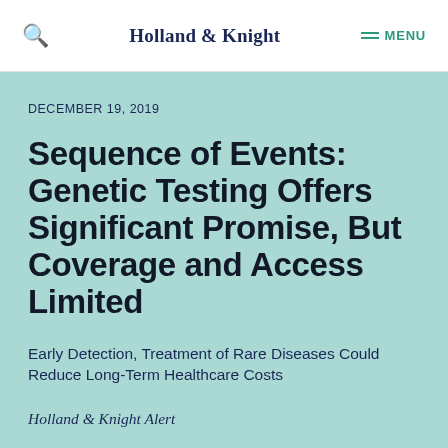Holland & Knight
DECEMBER 19, 2019
Sequence of Events: Genetic Testing Offers Significant Promise, But Coverage and Access Limited
Early Detection, Treatment of Rare Diseases Could Reduce Long-Term Healthcare Costs
Holland & Knight Alert